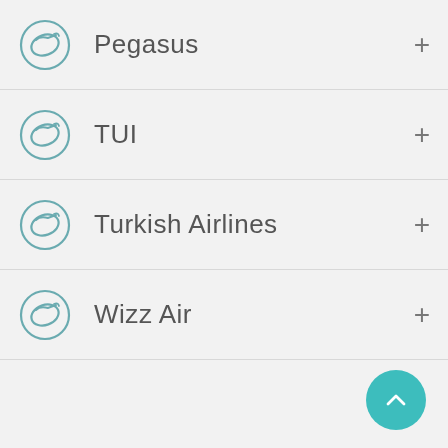Pegasus
TUI
Turkish Airlines
Wizz Air
[Figure (illustration): Teal circular scroll-to-top button with upward chevron arrow]